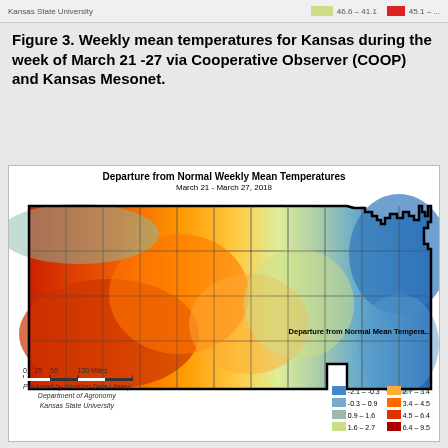Kansas State University     46.6 – 41.1    45.1 – ...
Figure 3. Weekly mean temperatures for Kansas during the week of March 21 -27 via Cooperative Observer (COOP) and Kansas Mesonet.
[Figure (map): Choropleth map of Kansas showing Departure from Normal Weekly Mean Temperatures for March 21 - March 27, 2018. Western Kansas shows warm departures (orange/red: 4.5-9.5 degrees above normal), central Kansas shows near-normal to slightly above (yellow-green), and northeast Kansas shows below-normal temperatures (blue: -2.1 to -0.3 degrees below normal). Legend shows color scale from blue (below normal) to red (above normal).]